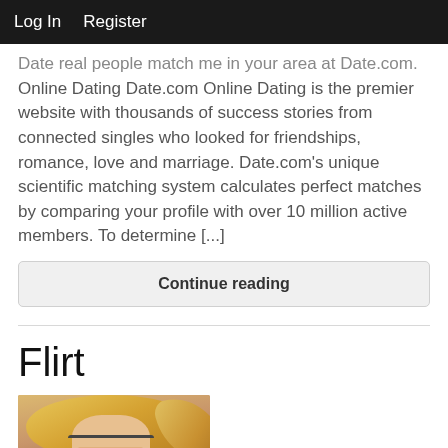Log In   Register
Date real people match me in your area at Date.com. Online Dating Date.com Online Dating is the premier website with thousands of success stories from connected singles who looked for friendships, romance, love and marriage. Date.com's unique scientific matching system calculates perfect matches by comparing your profile with over 10 million active members. To determine [...]
Continue reading
Flirt
[Figure (photo): Photo of a blonde woman with sunglasses, partially cropped]